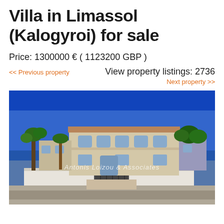Villa in Limassol (Kalogyroi) for sale
Price: 1300000 € ( 1123200 GBP )
<< Previous property   View property listings: 2736   Next property >>
[Figure (photo): Exterior photo of a two-storey villa in Limassol, Cyprus. The villa has a beige stone facade with arched windows and a balcony. It is surrounded by palm trees and other greenery. A white wall with iron gates borders the front. Blue sky overhead. Watermark text: Antonis Loizou & Associates.]